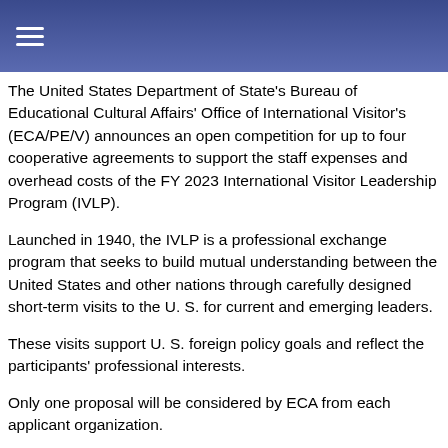The United States Department of State's Bureau of Educational Cultural Affairs' Office of International Visitor's (ECA/PE/V) announces an open competition for up to four cooperative agreements to support the staff expenses and overhead costs of the FY 2023 International Visitor Leadership Program (IVLP).
Launched in 1940, the IVLP is a professional exchange program that seeks to build mutual understanding between the United States and other nations through carefully designed short-term visits to the U. S. for current and emerging leaders.
These visits support U. S. foreign policy goals and reflect the participants' professional interests.
Only one proposal will be considered by ECA from each applicant organization.
In cases where more than one submission from an applicant appears in grants.gov, ECA will only consider the submission